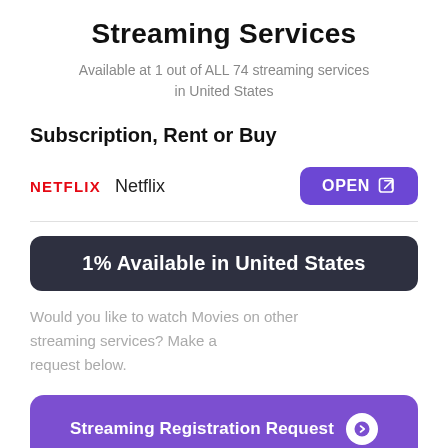Streaming Services
Available at 1 out of ALL 74 streaming services in United States
Subscription, Rent or Buy
NETFLIX  Netflix  OPEN
1% Available in United States
Would you like to watch Movies on other streaming services? Make a request below.
Streaming Registration Request